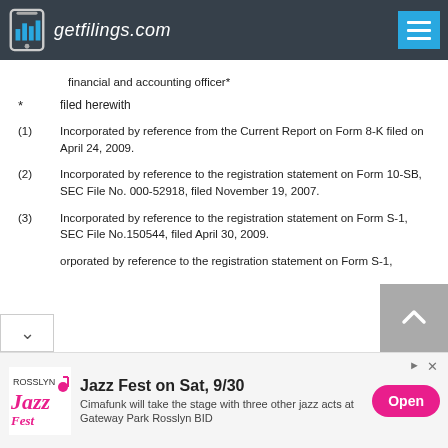getfilings.com
financial and accounting officer*
*    filed herewith
(1)  Incorporated by reference from the Current Report on Form 8-K filed on April 24, 2009.
(2)  Incorporated by reference to the registration statement on Form 10-SB, SEC File No. 000-52918, filed November 19, 2007.
(3)  Incorporated by reference to the registration statement on Form S-1, SEC File No.150544, filed April 30, 2009.
Incorporated by reference to the registration statement on Form S-1,